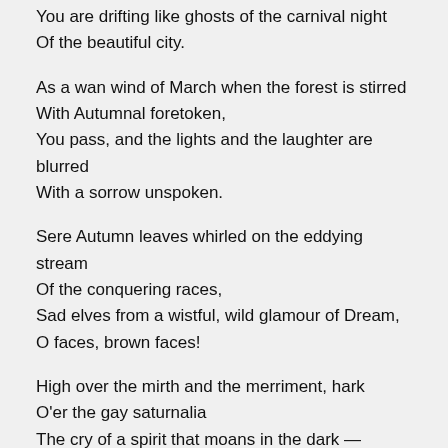You are drifting like ghosts of the carnival night
Of the beautiful city.
As a wan wind of March when the forest is stirred
With Autumnal foretoken,
You pass, and the lights and the laughter are blurred
With a sorrow unspoken.
Sere Autumn leaves whirled on the eddying stream
Of the conquering races,
Sad elves from a wistful, wild glamour of Dream,
O faces, brown faces!
High over the mirth and the merriment, hark
O'er the gay saturnalia
The cry of a spirit that moans in the dark —
“Australia, Australia!”